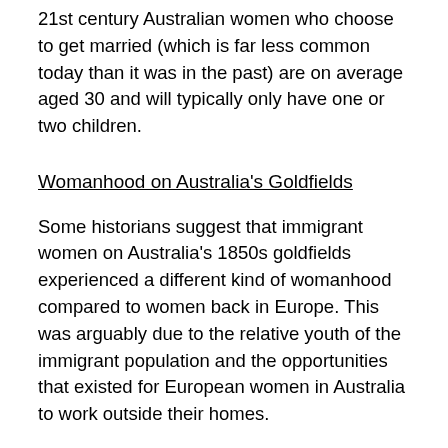21st century Australian women who choose to get married (which is far less common today than it was in the past) are on average aged 30 and will typically only have one or two children.
Womanhood on Australia's Goldfields
Some historians suggest that immigrant women on Australia's 1850s goldfields experienced a different kind of womanhood compared to women back in Europe. This was arguably due to the relative youth of the immigrant population and the opportunities that existed for European women in Australia to work outside their homes.
Many of the European women on the goldfields were in their late teens/early twenties. Their youth helped them survive the tough living and working conditions – raising a